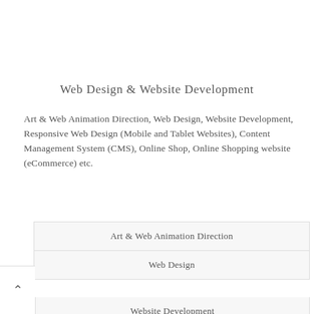Web Design & Website Development
Art & Web Animation Direction, Web Design, Website Development, Responsive Web Design (Mobile and Tablet Websites), Content Management System (CMS), Online Shop, Online Shopping website (eCommerce) etc.
Art & Web Animation Direction
Web Design
Website Development